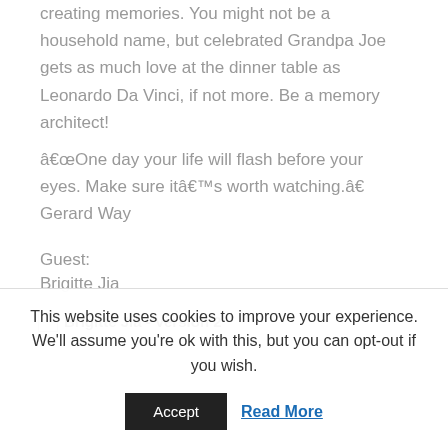creating memories. You might not be a household name, but celebrated Grandpa Joe gets as much love at the dinner table as Leonardo Da Vinci, if not more. Be a memory architect!
â€œOne day your life will flash before your eyes. Make sure itâ€™s worth watching.â€ Gerard Way
Guest:
Brigitte Jia
[Figure (photo): Broken image placeholder with alt text 'Brigitte Jia - Version 2']
This website uses cookies to improve your experience. We'll assume you're ok with this, but you can opt-out if you wish.